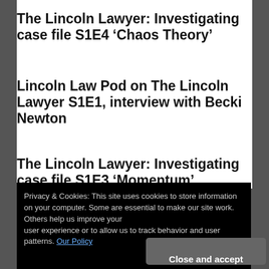The Lincoln Lawyer: Investigating case file S1E4 ‘Chaos Theory’
Lincoln Law Pod on The Lincoln Lawyer S1E1, interview with Becki Newton
The Lincoln Lawyer: Investigating case file S1E3 ‘Momentum’
Privacy & Cookies: This site uses cookies to store information on your computer. Some are essential to make our site work. Others help us improve your user experience or to allow us to track behavior and user patterns. Our Policy
Close and accept